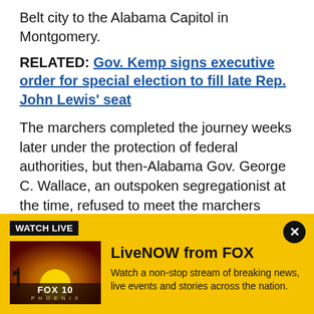Belt city to the Alabama Capitol in Montgomery.
RELATED: Gov. Kemp signs executive order for special election to fill late Rep. John Lewis' seat
The marchers completed the journey weeks later under the protection of federal authorities, but then-Alabama Gov. George C. Wallace, an outspoken segregationist at the time, refused to meet the marchers when they arrived at the Capitol. President Lyndon Johnson signed the Voting Rights Act of 1965 on Aug. 6 of that year.
[Figure (screenshot): FOX 10 Phoenix LiveNOW from FOX advertisement banner with yellow background, thumbnail image of FOX 10 Phoenix logo with sunset, and text 'Watch a non-stop stream of breaking news, live events and stories across the nation.']